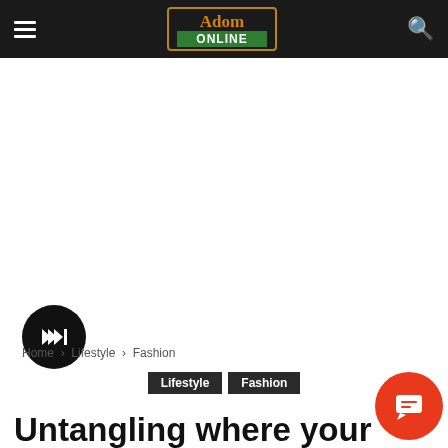Adom Online
[Figure (screenshot): White advertisement/blank area below navigation bar]
[Figure (other): Circular play button (black circle with white play icon)]
Home › Lifestyle › Fashion
Lifestyle   Fashion
Untangling where your
[Figure (other): Orange circular chat/comment button in bottom right]